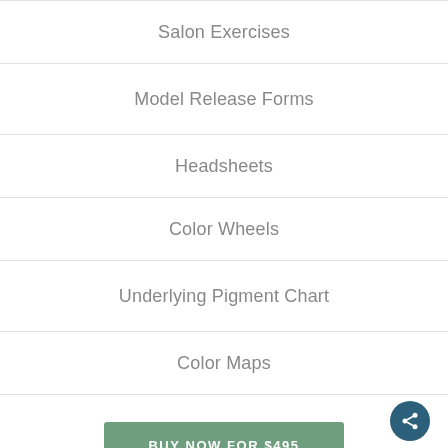Salon Exercises
Model Release Forms
Headsheets
Color Wheels
Underlying Pigment Chart
Color Maps
BUY NOW FOR $495